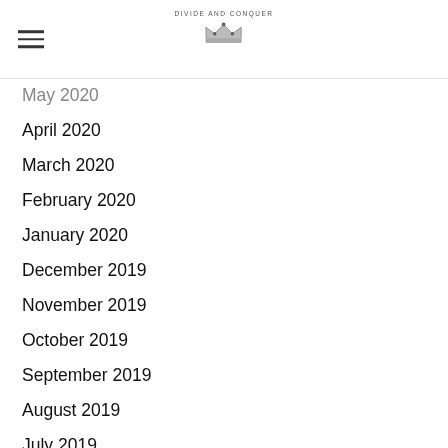DIVIDE AND CONQUER
May 2020
April 2020
March 2020
February 2020
January 2020
December 2019
November 2019
October 2019
September 2019
August 2019
July 2019
June 2019
May 2019
April 2019
March 2019
February 2019
January 2019
December 2018